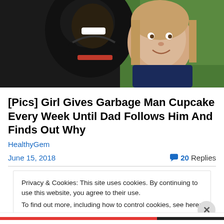[Figure (photo): A smiling man and a young girl with light hair posing together outdoors, grass visible in background.]
[Pics] Girl Gives Garbage Man Cupcake Every Week Until Dad Follows Him And Finds Out Why
HealthyGem
June 15, 2018   20 Replies
Privacy & Cookies: This site uses cookies. By continuing to use this website, you agree to their use.
To find out more, including how to control cookies, see here: Cookie Policy